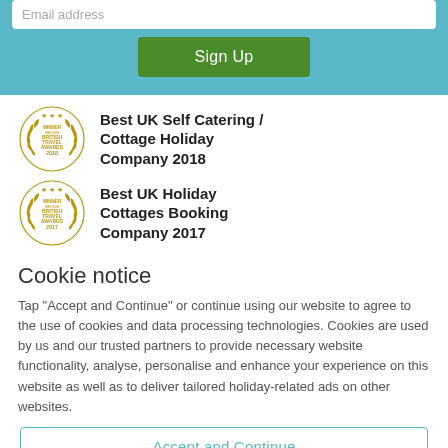Email address
Sign Up
Best UK Self Catering / Cottage Holiday Company 2018
[Figure (logo): British Travel Awards 2018 Winner Medium badge]
Best UK Holiday Cottages Booking Company 2017
[Figure (logo): British Travel Awards 2017 Winner Medium badge]
Cookie notice
Tap "Accept and Continue" or continue using our website to agree to the use of cookies and data processing technologies. Cookies are used by us and our trusted partners to provide necessary website functionality, analyse, personalise and enhance your experience on this website as well as to deliver tailored holiday-related ads on other websites.
Accept and Continue